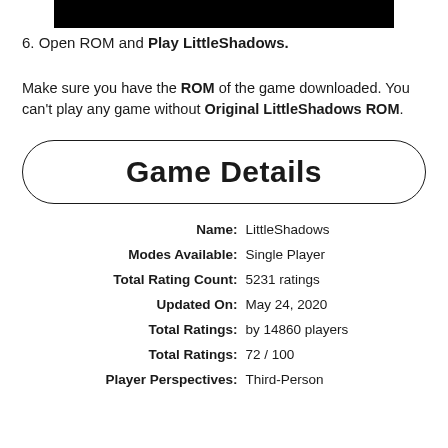[Figure (other): Black rectangular bar at top of page]
6. Open ROM and Play LittleShadows.
Make sure you have the ROM of the game downloaded. You can't play any game without Original LittleShadows ROM.
Game Details
| Field | Value |
| --- | --- |
| Name: | LittleShadows |
| Modes Available: | Single Player |
| Total Rating Count: | 5231 ratings |
| Updated On: | May 24, 2020 |
| Total Ratings: | by 14860 players |
| Total Ratings: | 72 / 100 |
| Player Perspectives: | Third-Person |